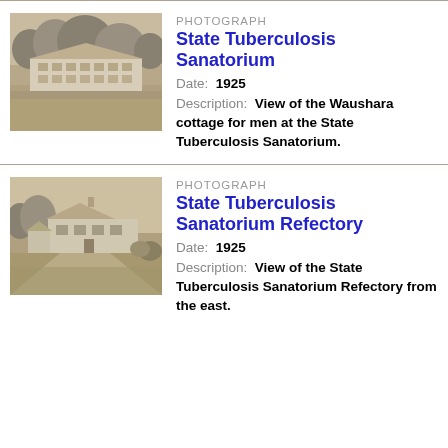[Figure (photo): Black and white historical photograph of the Waushara cottage for men at the State Tuberculosis Sanatorium, 1925. A large two-story building with open porches visible through trees.]
PHOTOGRAPH
State Tuberculosis Sanatorium
Date: 1925
Description: View of the Waushara cottage for men at the State Tuberculosis Sanatorium.
[Figure (photo): Black and white historical photograph of the State Tuberculosis Sanatorium Refectory from the east, 1925. A large house-style building with a road in the foreground.]
PHOTOGRAPH
State Tuberculosis Sanatorium Refectory
Date: 1925
Description: View of the State Tuberculosis Sanatorium Refectory from the east.